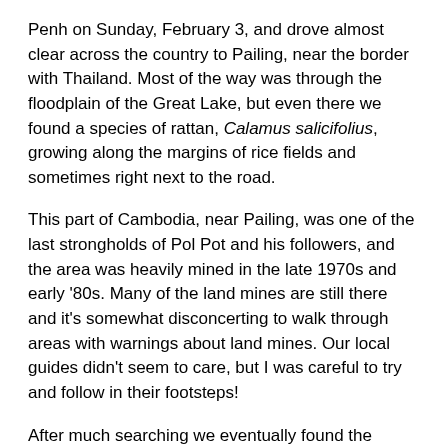Penh on Sunday, February 3, and drove almost clear across the country to Pailing, near the border with Thailand. Most of the way was through the floodplain of the Great Lake, but even there we found a species of rattan, Calamus salicifolius, growing along the margins of rice fields and sometimes right next to the road.
This part of Cambodia, near Pailing, was one of the last strongholds of Pol Pot and his followers, and the area was heavily mined in the late 1970s and early '80s. Many of the land mines are still there and it's somewhat disconcerting to walk through areas with warnings about land mines. Our local guides didn't seem to care, but I was careful to try and follow in their footsteps!
After much searching we eventually found the rattan in a piece of forest near the road, and were able to make a collection. It's definitely a new species, a real beauty called the honey rattan because the cut stems smell of honey. When we returned to the road we stopped at a house to press the specimens. A